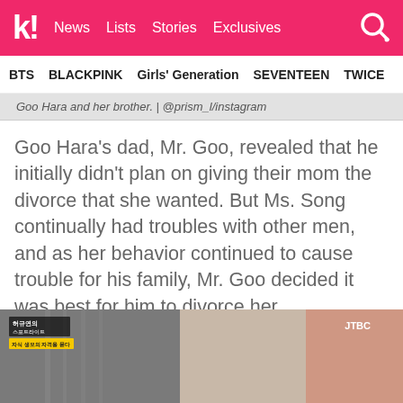k! News Lists Stories Exclusives
BTS  BLACKPINK  Girls' Generation  SEVENTEEN  TWICE
Goo Hara and her brother. | @prism_l/instagram
Goo Hara's dad, Mr. Goo, revealed that he initially didn't plan on giving their mom the divorce that she wanted. But Ms. Song continually had troubles with other men, and as her behavior continued to cause trouble for his family, Mr. Goo decided it was best for him to divorce her.
[Figure (screenshot): TV news segment screenshot with Korean text overlays and JTBC logo, showing a blurred indoor scene]